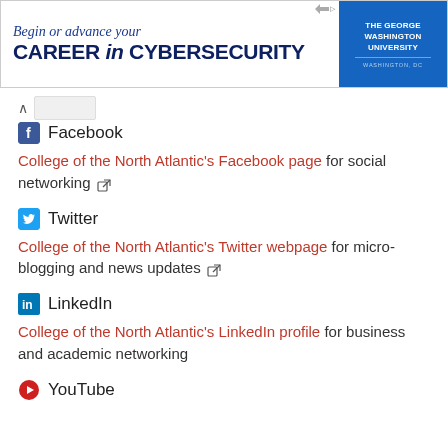[Figure (infographic): Advertisement banner for The George Washington University: 'Begin or advance your CAREER in CYBERSECURITY', WASHINGTON, DC]
Facebook
College of the North Atlantic's Facebook page for social networking
Twitter
College of the North Atlantic's Twitter webpage for micro-blogging and news updates
LinkedIn
College of the North Atlantic's LinkedIn profile for business and academic networking
YouTube